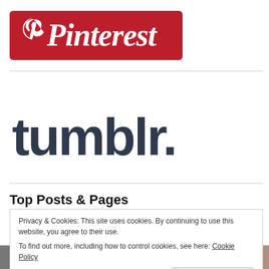[Figure (logo): Pinterest logo: red rounded rectangle background with white cursive 'Pinterest' text]
[Figure (logo): Tumblr logo: dark navy/slate bold rounded text 'tumblr.' on white background]
Top Posts & Pages
Privacy & Cookies: This site uses cookies. By continuing to use this website, you agree to their use.
To find out more, including how to control cookies, see here: Cookie Policy
[Figure (photo): Two partial thumbnail images at the bottom of the page]